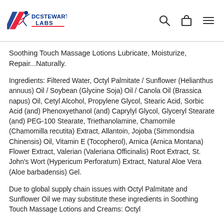DCSTEWART LABS
Soothing Touch Massage Lotions Lubricate, Moisturize, Repair...Naturally.
Ingredients: Filtered Water, Octyl Palmitate / Sunflower (Helianthus annuus) Oil / Soybean (Glycine Soja) Oil / Canola Oil (Brassica napus) Oil, Cetyl Alcohol, Propylene Glycol, Stearic Acid, Sorbic Acid (and) Phenoxyethanol (and) Caprylyl Glycol, Glyceryl Stearate (and) PEG-100 Stearate, Triethanolamine, Chamomile (Chamomilla recutita) Extract, Allantoin, Jojoba (Simmondsia Chinensis) Oil, Vitamin E (Tocopherol), Arnica (Arnica Montana) Flower Extract, Valerian (Valeriana Officinalis) Root Extract, St. John's Wort (Hypericum Perforatum) Extract, Natural Aloe Vera (Aloe barbadensis) Gel.
Due to global supply chain issues with Octyl Palmitate and Sunflower Oil we may substitute these ingredients in Soothing Touch Massage Lotions and Creams: Octyl